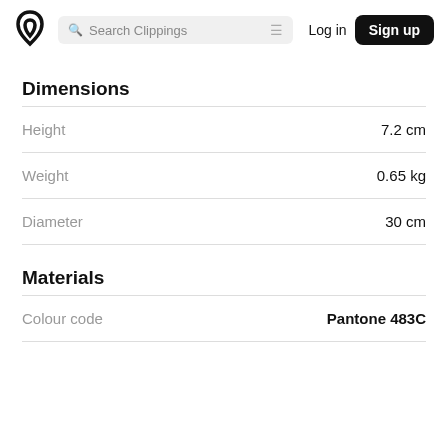Search Clippings | Log in | Sign up
Dimensions
| Property | Value |
| --- | --- |
| Height | 7.2 cm |
| Weight | 0.65 kg |
| Diameter | 30 cm |
Materials
| Property | Value |
| --- | --- |
| Colour code | Pantone 483C |